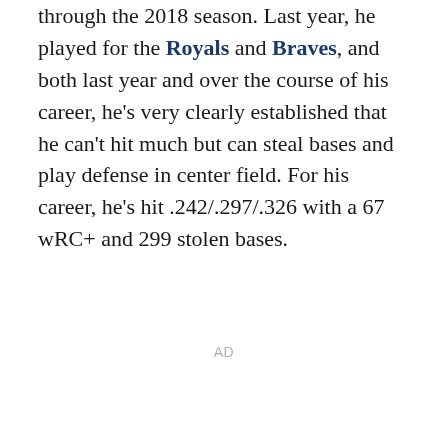through the 2018 season. Last year, he played for the Royals and Braves, and both last year and over the course of his career, he's very clearly established that he can't hit much but can steal bases and play defense in center field. For his career, he's hit .242/.297/.326 with a 67 wRC+ and 299 stolen bases.
AD